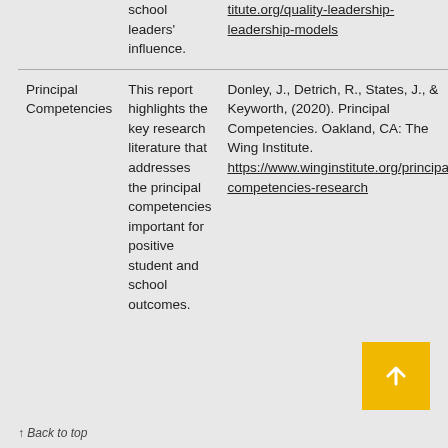| Topic | Description | Citation | Link |
| --- | --- | --- | --- |
|  | school leaders' influence. | titute.org/quality-leadership-leadership-models |  |
| Principal Competencies | This report highlights the key research literature that addresses the principal competencies important for positive student and school outcomes. | Donley, J., Detrich, R., States, J., & Keyworth, (2020). Principal Competencies. Oakland, CA: The Wing Institute. https://www.winginstitute.org/principal-competencies-research | More Info |